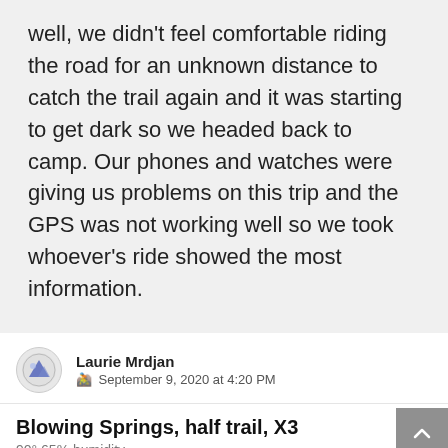well, we didn't feel comfortable riding the road for an unknown distance to catch the trail again and it was starting to get dark so we headed back to camp. Our phones and watches were giving us problems on this trip and the GPS was not working well so we took whoever's ride showed the most information.
Laurie Mrdjan
🚵 September 9, 2020 at 4:20 PM
Blowing Springs, half trail, X3
90° 65% humidity
Distance: 8.42 mi | Elev Gain: 544 ft | Achievements: 2
[Figure (screenshot): Workout map thumbnail showing trail route on green terrain map with orange path]